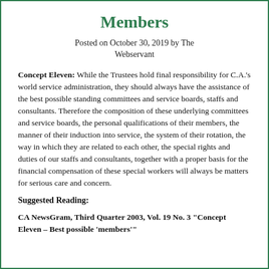Members
Posted on October 30, 2019 by The Webservant
Concept Eleven: While the Trustees hold final responsibility for C.A.'s world service administration, they should always have the assistance of the best possible standing committees and service boards, staffs and consultants. Therefore the composition of these underlying committees and service boards, the personal qualifications of their members, the manner of their induction into service, the system of their rotation, the way in which they are related to each other, the special rights and duties of our staffs and consultants, together with a proper basis for the financial compensation of these special workers will always be matters for serious care and concern.
Suggested Reading:
CA NewsGram, Third Quarter 2003, Vol. 19 No. 3 “Concept Eleven – Best possible ‘members’”